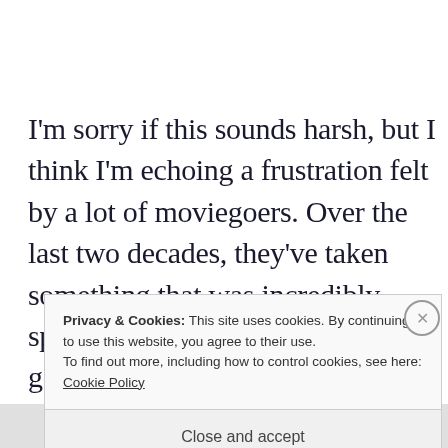I'm sorry if this sounds harsh, but I think I'm echoing a frustration felt by a lot of moviegoers. Over the last two decades, they've taken something that was incredibly special to all of us—the movie-going
Privacy & Cookies: This site uses cookies. By continuing to use this website, you agree to their use.
To find out more, including how to control cookies, see here:
Cookie Policy

Close and accept